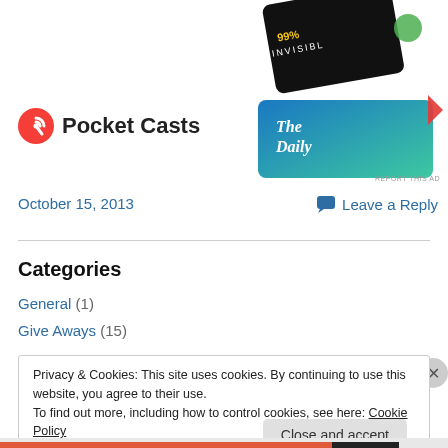[Figure (screenshot): Pocket Casts app logo with red circular icon and bold text 'Pocket Casts', alongside podcast card images including '99% Invisible' and 'The Daily']
October 15, 2013
Leave a Reply
Categories
General (1)
Give Aways (15)
Privacy & Cookies: This site uses cookies. By continuing to use this website, you agree to their use.
To find out more, including how to control cookies, see here: Cookie Policy
Close and accept